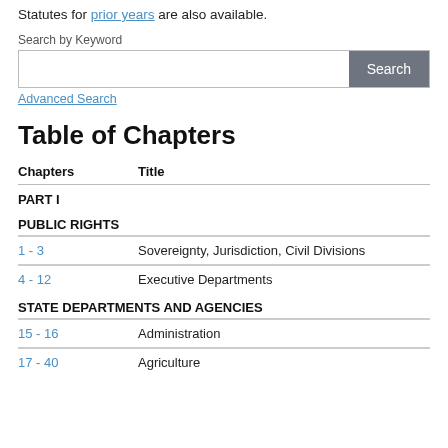Statutes for prior years are also available.
Search by Keyword
Advanced Search
Table of Chapters
| Chapters | Title |
| --- | --- |
| PART I |  |
| PUBLIC RIGHTS |  |
| 1 - 3 | Sovereignty, Jurisdiction, Civil Divisions |
| 4 - 12 | Executive Departments |
| STATE DEPARTMENTS AND AGENCIES |  |
| 15 - 16 | Administration |
| 17 - 40 | Agriculture |